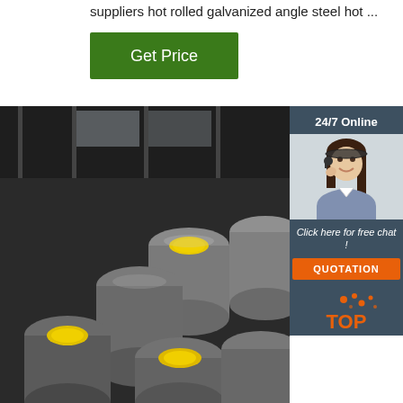suppliers hot rolled galvanized angle steel hot ...
[Figure (other): Green 'Get Price' button]
[Figure (photo): Photo of stacked steel round bars/rods with yellow end caps in an industrial warehouse]
[Figure (infographic): Sidebar with '24/7 Online' text, customer service agent photo, 'Click here for free chat!' text, and orange QUOTATION button, plus a TOP badge]